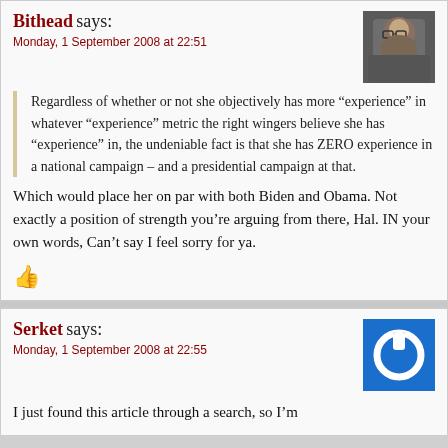Bithead says:
Monday, 1 September 2008 at 22:51
Regardless of whether or not she objectively has more “experience” in whatever “experience” metric the right wingers believe she has “experience” in, the undeniable fact is that she has ZERO experience in a national campaign – and a presidential campaign at that.
Which would place her on par with both Biden and Obama. Not exactly a position of strength you’re arguing from there, Hal. IN your own words, Can’t say I feel sorry for ya.
[Figure (photo): Avatar photo of Bithead commenter - older man with glasses]
Serket says:
Monday, 1 September 2008 at 22:55
I just found this article through a search, so I’m
[Figure (logo): Serket avatar - blue square with white power button icon]